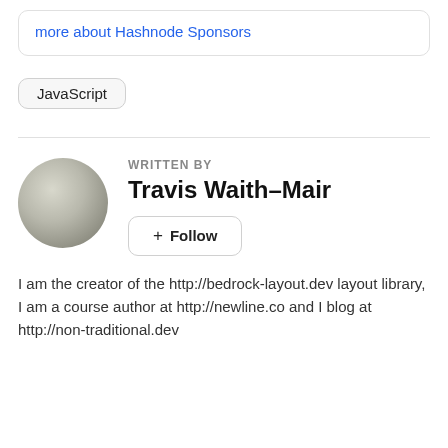more about Hashnode Sponsors
JavaScript
WRITTEN BY
Travis Waith-Mair
+ Follow
I am the creator of the http://bedrock-layout.dev layout library, I am a course author at http://newline.co and I blog at http://non-traditional.dev